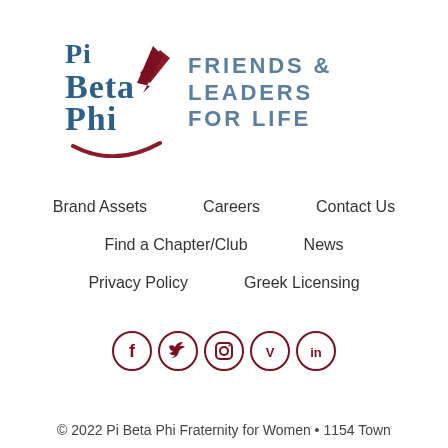[Figure (logo): Pi Beta Phi logo with arrow and swoosh, and tagline 'FRIENDS & LEADERS FOR LIFE']
Brand Assets
Careers
Contact Us
Find a Chapter/Club
News
Privacy Policy
Greek Licensing
[Figure (illustration): Social media icons: Facebook, Twitter, Instagram, Vimeo, LinkedIn — all in dark red circles]
© 2022 Pi Beta Phi Fraternity for Women • 1154 Town